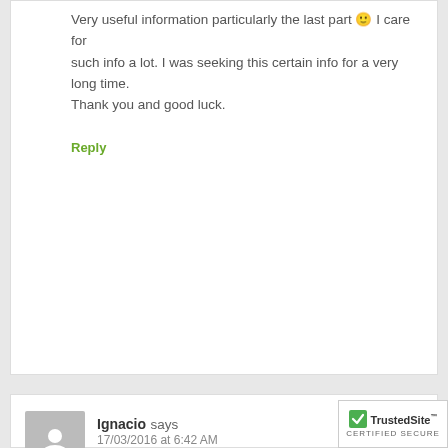Very useful information particularly the last part 🙂 I care for such info a lot. I was seeking this certain info for a very long time.
Thank you and good luck.
Reply
Ignacio says
17/03/2016 at 6:42 AM
Introducing the deluxe new necklace from Danon Jewelry.
Featuring Danon's signature silver coronary heart on a snake chain with 3 silver plated cubes on either side – breathtakingly beautiful.
Reply